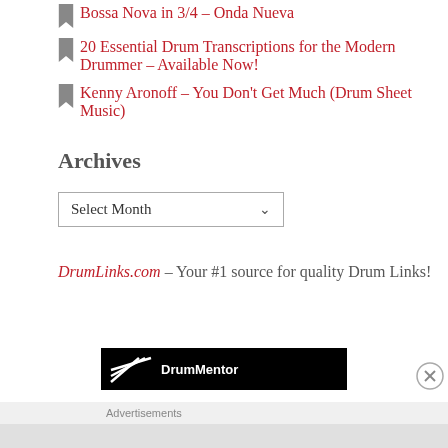Bossa Nova in 3/4 – Onda Nueva
20 Essential Drum Transcriptions for the Modern Drummer – Available Now!
Kenny Aronoff – You Don't Get Much (Drum Sheet Music)
Archives
Select Month
DrumLinks.com – Your #1 source for quality Drum Links!
[Figure (screenshot): Black banner advertisement showing a logo with stylized lines and text 'DrumMentor' or similar]
Advertisements